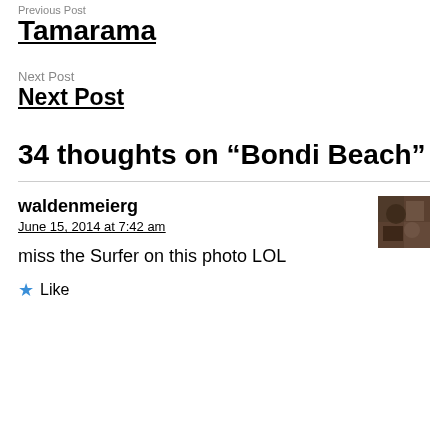Previous Post
Tamarama
Next Post
Next Post
34 thoughts on “Bondi Beach”
waldenmeierg
June 15, 2014 at 7:42 am
[Figure (photo): Small user avatar photo showing a dark textured image]
miss the Surfer on this photo LOL
Like